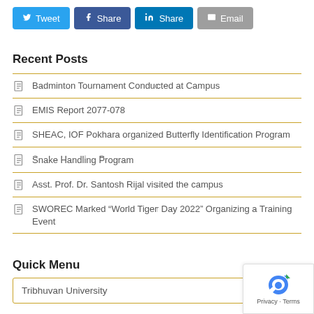[Figure (other): Social share buttons: Tweet (Twitter/blue), Share (Facebook/dark blue), Share (LinkedIn/blue), Email (grey)]
Recent Posts
Badminton Tournament Conducted at Campus
EMIS Report 2077-078
SHEAC, IOF Pokhara organized Butterfly Identification Program
Snake Handling Program
Asst. Prof. Dr. Santosh Rijal visited the campus
SWOREC Marked “World Tiger Day 2022” Organizing a Training Event
Quick Menu
Tribhuvan University